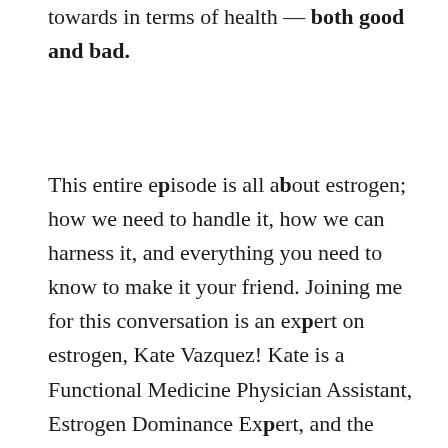towards in terms of health — both good and bad.
This entire episode is all about estrogen; how we need to handle it, how we can harness it, and everything you need to know to make it your friend. Joining me for this conversation is an expert on estrogen, Kate Vazquez! Kate is a Functional Medicine Physician Assistant, Estrogen Dominance Expert, and the founder of Radiant Health. She loves helping women reclaim their health and vitality by uncovering the imbalances in their bodies and helping to